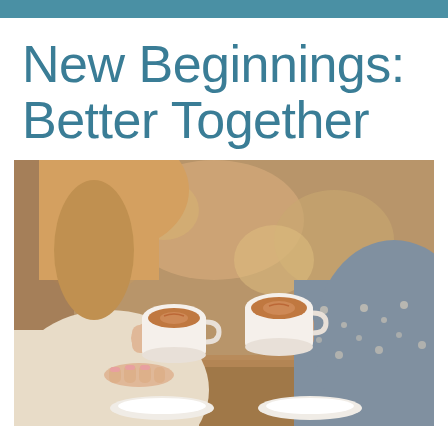New Beginnings: Better Together
[Figure (photo): Two women sitting at a cafe table, each holding a white coffee cup up as if toasting. One woman has blonde hair and wears a cream knit sweater; the other wears a grey patterned sweater. Two white saucers rest on the wooden table. The background is a blurred cafe interior.]